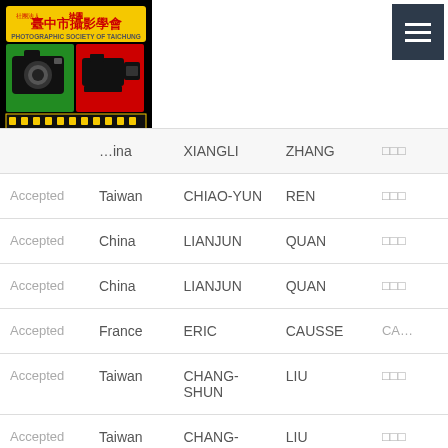Photographic Society of Taichung logo and navigation
| Status | Country | First Name | Last Name | Title |
| --- | --- | --- | --- | --- |
|  | ...ina | XIANGLI | ZHANG | □□□ |
| Accepted | Taiwan | CHIAO-YUN | REN | □□□ |
| Accepted | China | LIANJUN | QUAN | □□□ |
| Accepted | China | LIANJUN | QUAN | □□□ |
| Accepted | France | ERIC | CAUSSE | CA... |
| Accepted | Taiwan | CHANG-SHUN | LIU | □□□ |
| Accepted | Taiwan | CHANG-SHUN | LIU | □□□ |
| Accepted | USA | HONG | LIANG | Ho Qi Lia... |